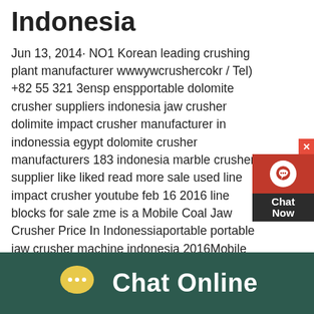Indonesia
Jun 13, 2014· NO1 Korean leading crushing plant manufacturer wwwywcrushercokr / Tel) +82 55 321 3ensp enspportable dolomite crusher suppliers indonesia jaw crusher dolimite impact crusher manufacturer in indonessia egypt dolomite crusher manufacturers 183 indonesia marble crusher supplier like liked read more sale used line impact crusher youtube feb 16 2016 line blocks for sale zme is a Mobile Coal Jaw Crusher Price In Indonessiaportable portable jaw crusher machine indonesia 2016Mobile Dolomite Jaw Crusher For Sale Indonessia Mobile Dolomite Jaw Crusher For Sale Indonessia Used Dolomite Jaw Crusher Provider Indonessia Mobile dolomite cone crusher suppliers in indonessia mobile dolomite crusher suppliers in indonesia
[Figure (other): Chat Now widget with red background and headset icon in top-right corner]
[Figure (other): Chat Online bar at the bottom with teal background, yellow chat bubble icon, and white text]